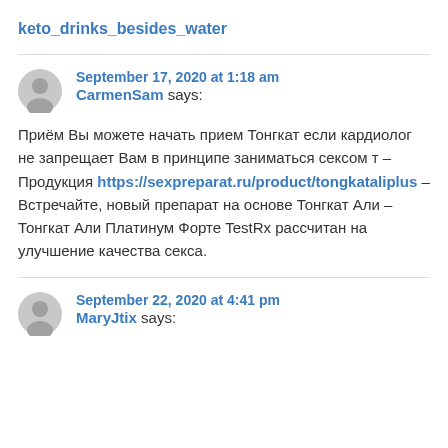keto_drinks_besides_water
September 17, 2020 at 1:18 am
CarmenSam says:
Приём Вы можете начать прием Тонгкат если кардиолог не запрещает Вам в принципе заниматься сексом т – Продукция https://sexpreparat.ru/product/tongkataliplus – Встречайте, новый препарат на основе Тонгкат Али – Тонгкат Али Платинум Форте TestRx рассчитан на улучшение качества секса.
September 22, 2020 at 4:41 pm
MaryJtix says: